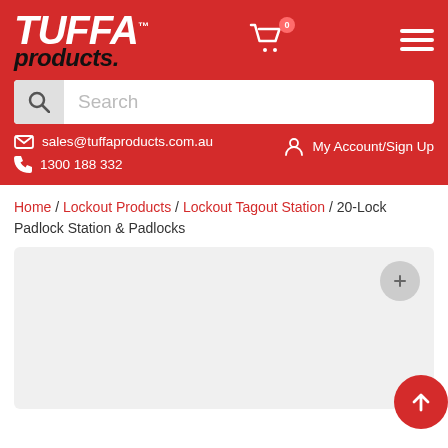[Figure (logo): TUFFA products logo in white and black italic bold text on red background]
[Figure (screenshot): Search bar with magnifying glass icon and placeholder text 'Search']
sales@tuffaproducts.com.au
1300 188 332
My Account/Sign Up
Home / Lockout Products / Lockout Tagout Station / 20-Lock Padlock Station & Padlocks
[Figure (photo): Product image placeholder area (light gray background, partially visible)]